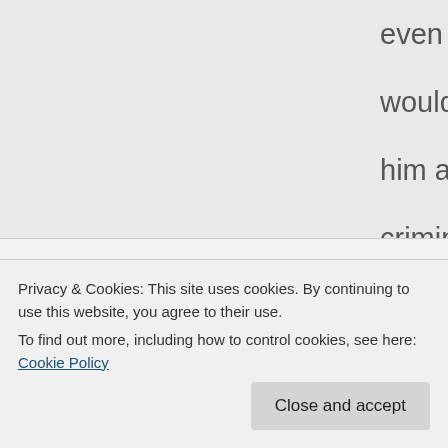even told LGE that I would never regard him as a former criminal after he is released.

However, that does not stop me from criticising LGE for not doing enough on matters such as affordable housing,
Privacy & Cookies: This site uses cookies. By continuing to use this website, you agree to their use.
To find out more, including how to control cookies, see here: Cookie Policy
sending LGE a